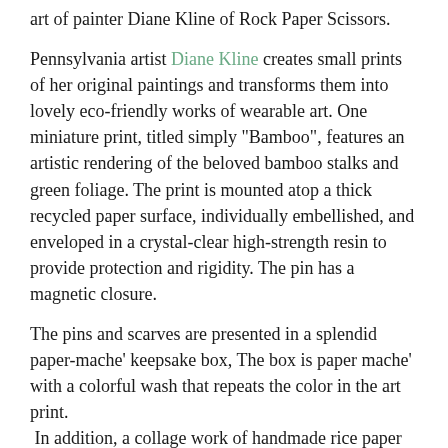art of painter Diane Kline of Rock Paper Scissors.
Pennsylvania artist Diane Kline creates small prints of her original paintings and transforms them into lovely eco-friendly works of wearable art. One miniature print, titled simply "Bamboo", features an artistic rendering of the beloved bamboo stalks and green foliage. The print is mounted atop a thick recycled paper surface, individually embellished, and enveloped in a crystal-clear high-strength resin to provide protection and rigidity. The pin has a  magnetic closure.
The pins and scarves are presented in a splendid paper-mache' keepsake box, The box is paper mache' with a colorful wash that repeats the color in the art print. In addition, a collage work of handmade rice paper is added which creates soft textures that enhance the image. Finally, the surface is brushed with an iridescent addendum that by as a background.